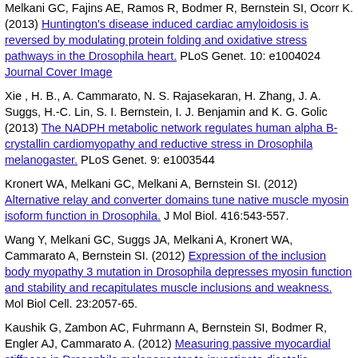Melkani GC, Fajins AE, Ramos R, Bodmer R, Bernstein SI, Ocorr K. (2013) Huntington's disease induced cardiac amyloidosis is reversed by modulating protein folding and oxidative stress pathways in the Drosophila heart. PLoS Genet. 10: e1004024 Journal Cover Image
Xie , H. B., A. Cammarato, N. S. Rajasekaran, H. Zhang, J. A. Suggs, H.-C. Lin, S. I. Bernstein, I. J. Benjamin and K. G. Golic (2013) The NADPH metabolic network regulates human alpha B-crystallin cardiomyopathy and reductive stress in Drosophila melanogaster. PLoS Genet. 9: e1003544
Kronert WA, Melkani GC, Melkani A, Bernstein SI. (2012) Alternative relay and converter domains tune native muscle myosin isoform function in Drosophila. J Mol Biol. 416:543-557.
Wang Y, Melkani GC, Suggs JA, Melkani A, Kronert WA, Cammarato A, Bernstein SI. (2012) Expression of the inclusion body myopathy 3 mutation in Drosophila depresses myosin function and stability and recapitulates muscle inclusions and weakness. Mol Biol Cell. 23:2057-65.
Kaushik G, Zambon AC, Fuhrmann A, Bernstein SI, Bodmer R, Engler AJ, Cammarato A. (2012) Measuring passive myocardial stiffness in Drosophila melanogaster to investigate diastolic dysfunction. J Cell Mol Med. 16:1656-1662.